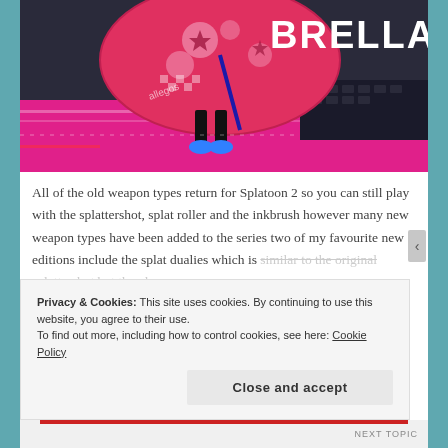[Figure (screenshot): Screenshot from Splatoon 2 video game showing a character holding a large decorative umbrella weapon (Brella) with pink and red patterns on a game stage. The word BRELLA appears in bold white text in the upper right corner.]
All of the old weapon types return for Splatoon 2 so you can still play with the splattershot, splat roller and the inkbrush however many new weapon types have been added to the series two of my favourite new editions include the splat dualies which is similar to the original splattershot but the player
Privacy & Cookies: This site uses cookies. By continuing to use this website, you agree to their use.
To find out more, including how to control cookies, see here: Cookie Policy
Close and accept